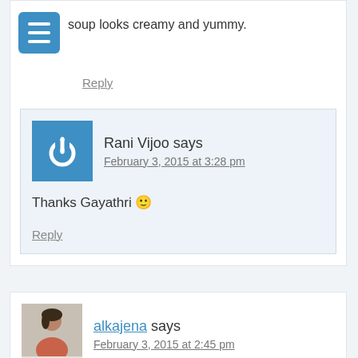soup looks creamy and yummy.
Reply
Rani Vijoo says
February 3, 2015 at 3:28 pm
Thanks Gayathri 🙂
Reply
alkajena says
February 3, 2015 at 2:45 pm